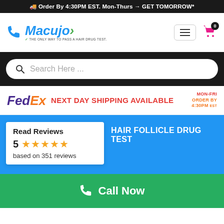🚚 Order By 4:30PM EST. Mon-Thurs → GET TOMORROW*
[Figure (logo): Macujo logo with phone icon, hamburger menu button, and cart icon with 0 badge]
Search Here ...
[Figure (logo): FedEx logo with NEXT DAY SHIPPING AVAILABLE text and MON-FRI ORDER BY 4:30PM EST]
Read Reviews
5 ★★★★★
based on 351 reviews
HAIR FOLLICLE DRUG TEST
Call Now